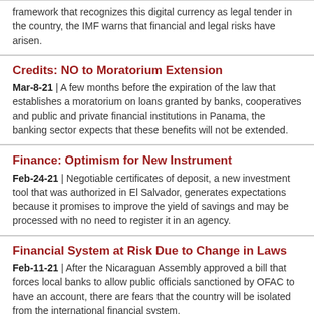framework that recognizes this digital currency as legal tender in the country, the IMF warns that financial and legal risks have arisen.
Credits: NO to Moratorium Extension
Mar-8-21 | A few months before the expiration of the law that establishes a moratorium on loans granted by banks, cooperatives and public and private financial institutions in Panama, the banking sector expects that these benefits will not be extended.
Finance: Optimism for New Instrument
Feb-24-21 | Negotiable certificates of deposit, a new investment tool that was authorized in El Salvador, generates expectations because it promises to improve the yield of savings and may be processed with no need to register it in an agency.
Financial System at Risk Due to Change in Laws
Feb-11-21 | After the Nicaraguan Assembly approved a bill that forces local banks to allow public officials sanctioned by OFAC to have an account, there are fears that the country will be isolated from the international financial system.
Credits: Flexible Terms during 2021
Feb-3-21 | In order to face the crisis generated by the covid-19 outbreak, Costa Rica extended until December 31, 2021 the measure